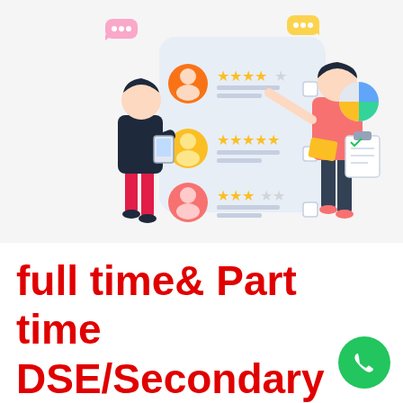[Figure (illustration): A flat-style illustration showing a man holding a tablet on the left, a large review card panel in the center with three user profiles each with star ratings (4 stars, 5 stars, 3 stars), and a woman on the right pointing at the panel. Various UI elements like chat bubbles, a pie chart, and a clipboard are in the background.]
full time& Part time DSE/Secondary school subjects tutor/teacher (all